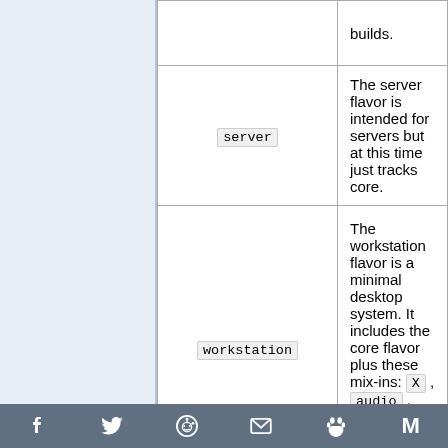| Flavor | Description |
| --- | --- |
|  | builds. |
| server | The server flavor is intended for servers but at this time just tracks core. |
| workstation | The workstation flavor is a minimal desktop system. It includes the core flavor plus these mix-ins: X , audio , dvd , media and console-extras . |
|  | The desktop flavor is a full- |
Share icons: Facebook, Twitter, Reddit, Email, Paws, Gmail